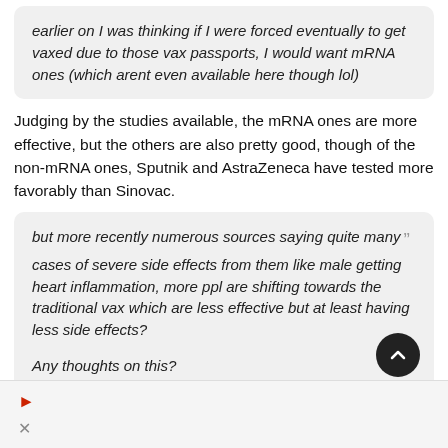earlier on I was thinking if I were forced eventually to get vaxed due to those vax passports, I would want mRNA ones (which arent even available here though lol)
Judging by the studies available, the mRNA ones are more effective, but the others are also pretty good, though of the non-mRNA ones, Sputnik and AstraZeneca have tested more favorably than Sinovac.
but more recently numerous sources saying quite many cases of severe side effects from them like male getting heart inflammation, more ppl are shifting towards the traditional vax which are less effective but at least having less side effects?

Any thoughts on this?